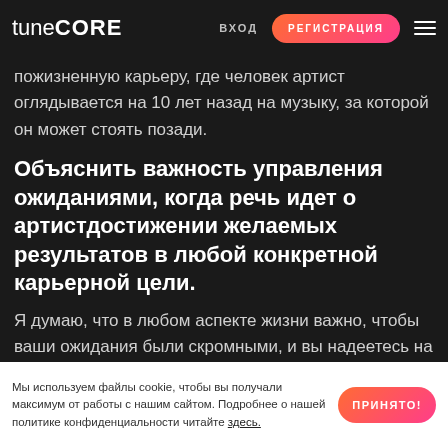tuneCore — ВХОД — РЕГИСТРАЦИЯ
сделают это, но для меня это не устойчивые бизнес, которые прев...
пожизненную карьеру, где человек артист оглядывается на 10 лет назад на музыку, за которой он может стоять позади.
Объяснить важность управления ожиданиями, когда речь идет о артистдостижении желаемых результатов в любой конкретной карьерной цели.
Я думаю, что в любом аспекте жизни важно, чтобы ваши ожидания были скромными, и вы надеетесь на лучшее, планируя худшее.
Мы используем файлы cookie, чтобы вы получали максимум от работы с нашим сайтом. Подробнее о нашей политике конфиденциальности читайте здесь. ПРИНЯТО!